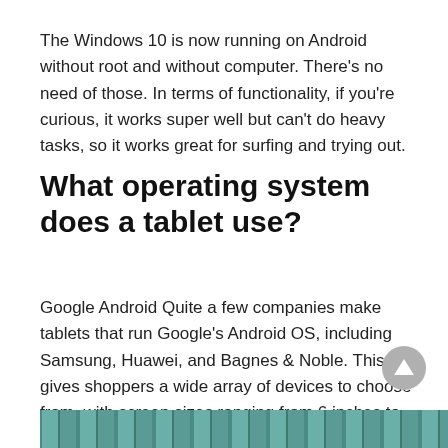The Windows 10 is now running on Android without root and without computer. There's no need of those. In terms of functionality, if you're curious, it works super well but can't do heavy tasks, so it works great for surfing and trying out.
What operating system does a tablet use?
Google Android Quite a few companies make tablets that run Google's Android OS, including Samsung, Huawei, and Bagnes & Noble. This gives shoppers a wide array of devices to choose from, with screen sizes ranging from 6 inches to 13 inches.
[Figure (photo): Bottom strip of a photo showing a tablet or device screen, partially visible at the bottom of the page]